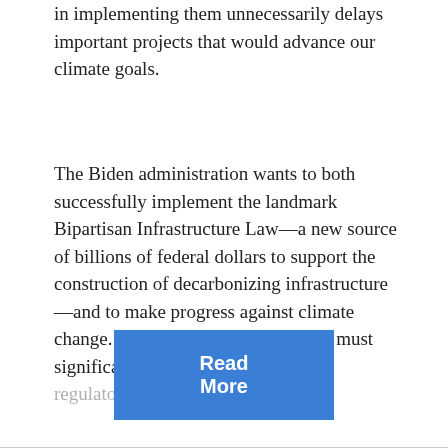in implementing them unnecessarily delays important projects that would advance our climate goals.
The Biden administration wants to both successfully implement the landmark Bipartisan Infrastructure Law—a new source of billions of federal dollars to support the construction of decarbonizing infrastructure—and to make progress against climate change. To achieve those goals, they must significantly improve our permitting regulatory system. There is
[Figure (other): Blue 'Read More' button]